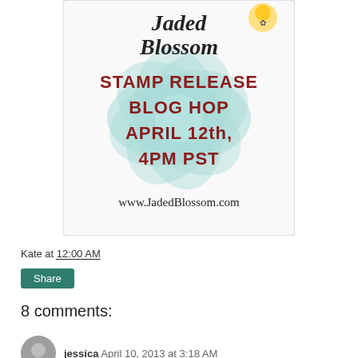[Figure (illustration): Jaded Blossom Stamp Release Blog Hop April 12th, 4PM PST www.jadedblossom.com promotional banner with teal flower design and cursive logo]
Kate at 12:00 AM
Share
8 comments:
jessica April 10, 2013 at 3:18 AM